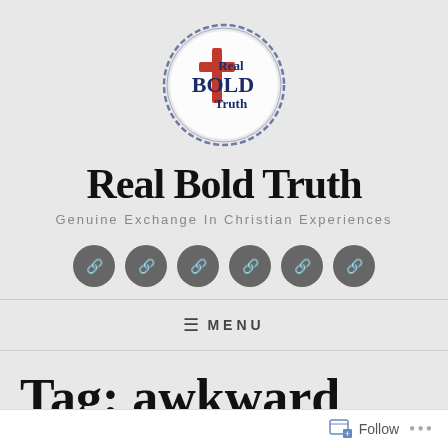[Figure (logo): Real Bold Truth circular logo with cross and bold text]
Real Bold Truth
Genuine Exchange In Christian Experiences
[Figure (infographic): Six dark gray circular social media icon buttons in a row]
≡ MENU
Tag: awkward
Follow ...